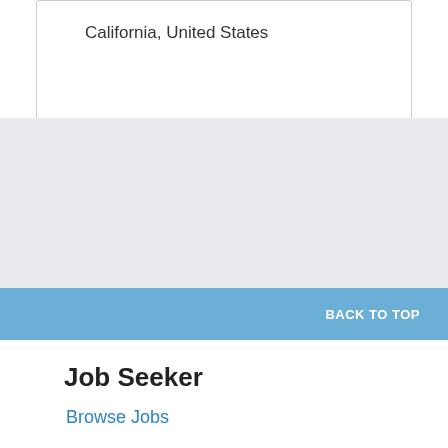California, United States
BACK TO TOP
Job Seeker
Browse Jobs
Create Job Alerts
Job-Search Tips
Employer
Post a Job